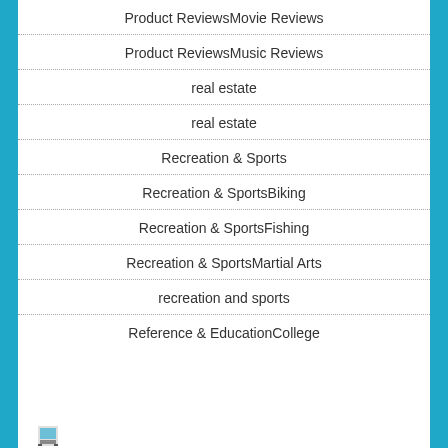Product ReviewsMovie Reviews
Product ReviewsMusic Reviews
real estate
real estate
Recreation & Sports
Recreation & SportsBiking
Recreation & SportsFishing
Recreation & SportsMartial Arts
recreation and sports
Reference & EducationCollege